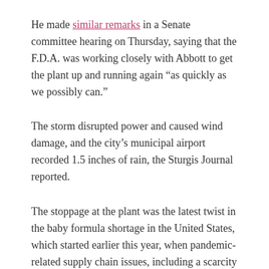He made similar remarks in a Senate committee hearing on Thursday, saying that the F.D.A. was working closely with Abbott to get the plant up and running again “as quickly as we possibly can.”
The storm disrupted power and caused wind damage, and the city’s municipal airport recorded 1.5 inches of rain, the Sturgis Journal reported.
The stoppage at the plant was the latest twist in the baby formula shortage in the United States, which started earlier this year, when pandemic-related supply chain issues, including a scarcity of some ingredients, made it difficult for parents to find formula.
After the shutdown in February, Abbott said it increased production at other manufacturing plants in the United